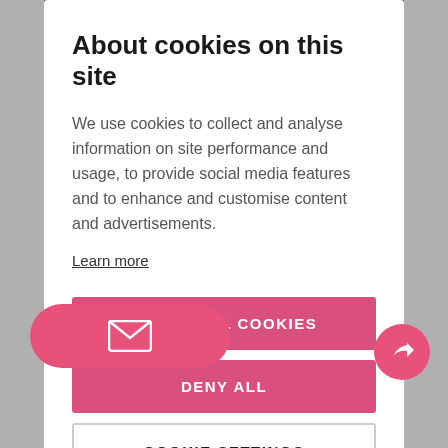About cookies on this site
We use cookies to collect and analyse information on site performance and usage, to provide social media features and to enhance and customise content and advertisements.
Learn more
ALLOW ALL COOKIES
DENY ALL
COOKIE SETTINGS
[Figure (other): Pink email pill button with envelope icon at bottom left]
[Figure (other): Pink circular share/forward button at bottom right]
[Figure (photo): Background photo showing Christmas decorations with green and pink/red metallic ornaments]